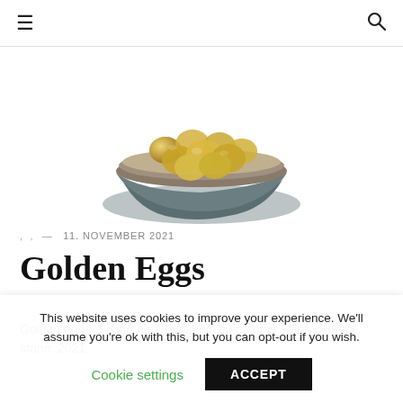≡  🔍
[Figure (photo): A bowl or frying pan filled with golden eggs, displayed on a stone or cement base, photographed from above and slightly to the side. The eggs are gold-colored eggshells, and the base appears dark and rough-textured.]
, ,  — 11. NOVEMBER 2021
Golden Eggs
Golden eggs. Frying pan, eggshell, gold spray paint, cement, stone. 2021
This website uses cookies to improve your experience. We'll assume you're ok with this, but you can opt-out if you wish.
Cookie settings   ACCEPT